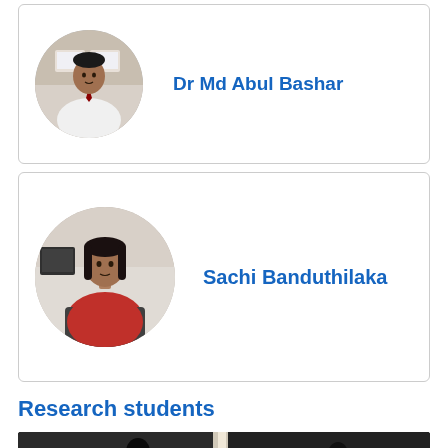[Figure (photo): Circular portrait photo of Dr Md Abul Bashar seated at a desk with monitors in background, wearing white coat and tie]
Dr Md Abul Bashar
[Figure (photo): Circular portrait photo of Sachi Banduthilaka seated wearing a red sweater, with office background]
Sachi Banduthilaka
Research students
[Figure (photo): Wide photo showing research students in a darkened room or lab setting]